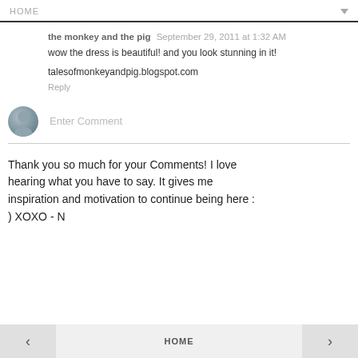HOME
the monkey and the pig  September 29, 2011 at 1:32 AM
wow the dress is beautiful! and you look stunning in it!
talesofmonkeyandpig.blogspot.com
Reply
[Figure (illustration): Grey user avatar circle icon for comment input field]
Enter Comment
Thank you so much for your Comments! I love hearing what you have to say. It gives me inspiration and motivation to continue being here : ) XOXO - N
‹  HOME  ›